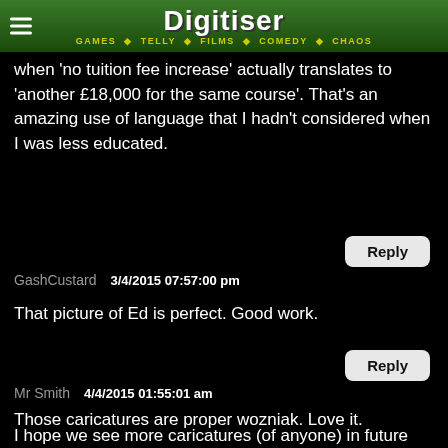Digitiser — GAMES · TELLY · FILMS · COMEDY · CHAOS
I decided to retire... 'no tuition fee increase' actually translates to 'another £18,000 for the same course'. That's an amazing use of language that I hadn't considered when I was less educated.
Reply
GashCustard   3/4/2015 07:57:00 pm
That picture of Ed is perfect. Good work.
Reply
Mr Smith   4/4/2015 01:55:01 am
Those caricatures are proper wozniak. Love it.
I hope we see more caricatures (of anyone) in future